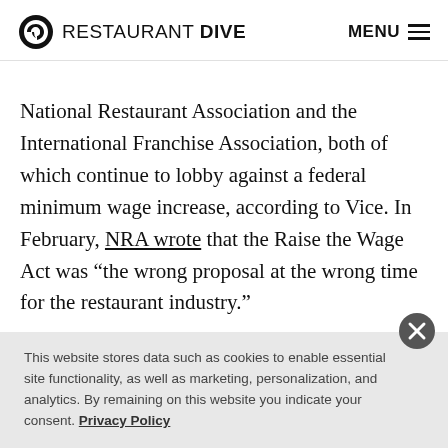RESTAURANT DIVE  MENU
National Restaurant Association and the International Franchise Association, both of which continue to lobby against a federal minimum wage increase, according to Vice. In February, NRA wrote that the Raise the Wage Act was “the wrong proposal at the wrong time for the restaurant industry.”
Also, in February, Vice reported that McDonald’s has been monitoring employees’ social media to find out if
This website stores data such as cookies to enable essential site functionality, as well as marketing, personalization, and analytics. By remaining on this website you indicate your consent. Privacy Policy